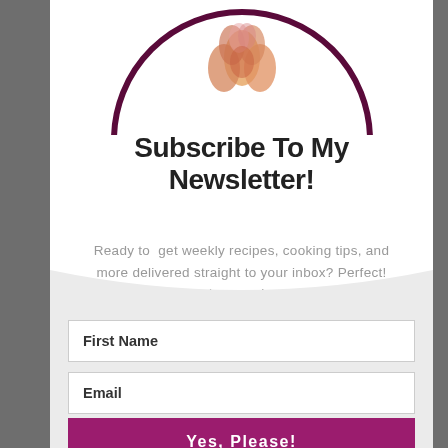[Figure (logo): Circular logo with dark maroon border, white background, and orange/peach decorative floral or petal design at center top]
Subscribe To My Newsletter!
Ready to get weekly recipes, cooking tips, and more delivered straight to your inbox? Perfect! Sign up here and you're in.
First Name
Email
Yes, Please!